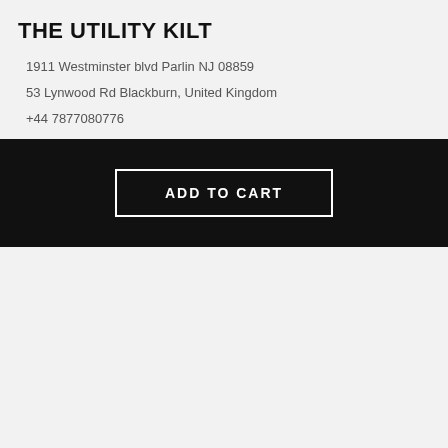THE UTILITY KILT
1911 Westminster blvd Parlin NJ 08859
53 Lynwood Rd Blackburn, United Kingdom
+44 7877080776
support@theutilitykilt.com
[Figure (illustration): Dark blue circular chat bubble icon]
INFORMATION
NEED HELP
ADD TO CART